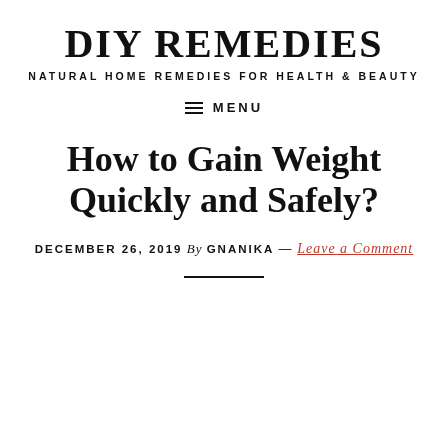DIY REMEDIES
NATURAL HOME REMEDIES FOR HEALTH & BEAUTY
≡ MENU
How to Gain Weight Quickly and Safely?
DECEMBER 26, 2019 By GNANIKA — Leave a Comment